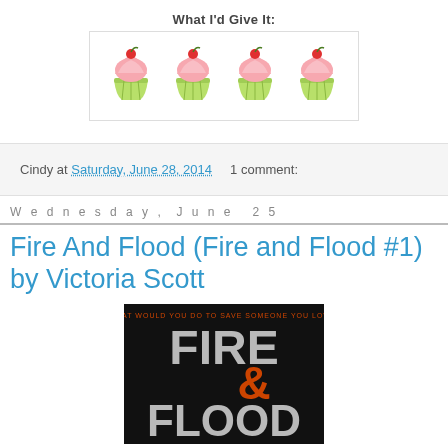What I'd Give It:
[Figure (illustration): Four cupcake emoji/icons in a row inside a bordered box, used as a rating system (4 cupcakes out of 5).]
Cindy at Saturday, June 28, 2014   1 comment:
Wednesday, June 25
Fire And Flood (Fire and Flood #1) by Victoria Scott
[Figure (photo): Book cover of 'Fire & Flood' by Victoria Scott. Black background with large stylized text 'FIRE & FLOOD'. Top reads 'WHAT WOULD YOU DO TO SAVE SOMEONE YOU LOVE?' The ampersand is orange/fiery.]